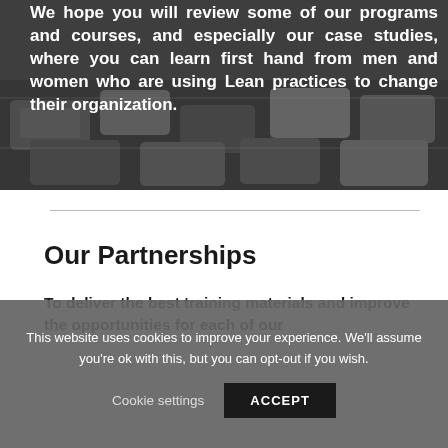[Figure (photo): Aerial/overhead photo of a parking lot with cars, overlaid with bold white text about reviewing programs and courses]
We hope you will review some of our programs and courses, and especially our case studies, where you can learn first hand from men and women who are using Lean practices to change their organization.
Our Partnerships
To deliver the best training materials and improve the opportunities for each of our
This website uses cookies to improve your experience. We'll assume you're ok with this, but you can opt-out if you wish. Cookie settings ACCEPT